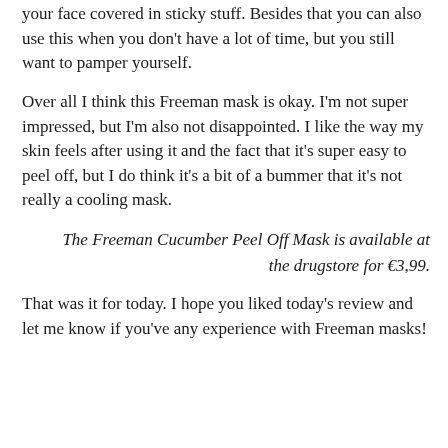your face covered in sticky stuff. Besides that you can also use this when you don't have a lot of time, but you still want to pamper yourself.
Over all I think this Freeman mask is okay. I'm not super impressed, but I'm also not disappointed. I like the way my skin feels after using it and the fact that it's super easy to peel off, but I do think it's a bit of a bummer that it's not really a cooling mask.
The Freeman Cucumber Peel Off Mask is available at the drugstore for €3,99.
That was it for today. I hope you liked today's review and let me know if you've any experience with Freeman masks!